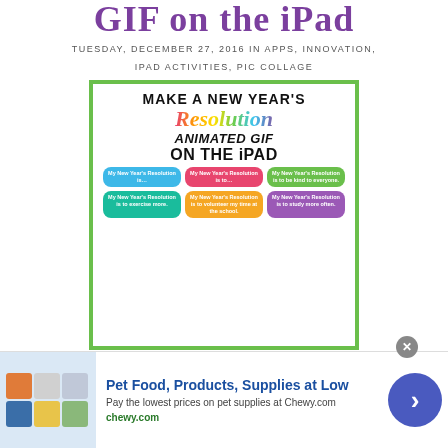GIF on the iPad
TUESDAY, DECEMBER 27, 2016 IN APPS, INNOVATION, IPAD ACTIVITIES, PIC COLLAGE
[Figure (illustration): Colorful promotional image: 'Make a New Year's Resolution Animated GIF on the iPad' with speech bubbles showing student New Year's resolutions]
Pet Food, Products, Supplies at Low Prices. Pay the lowest prices on pet supplies at Chewy.com. chewy.com